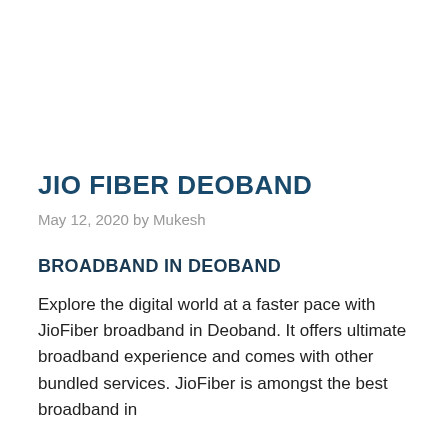JIO FIBER DEOBAND
May 12, 2020 by Mukesh
BROADBAND IN DEOBAND
Explore the digital world at a faster pace with JioFiber broadband in Deoband. It offers ultimate broadband experience and comes with other bundled services. JioFiber is amongst the best broadband in